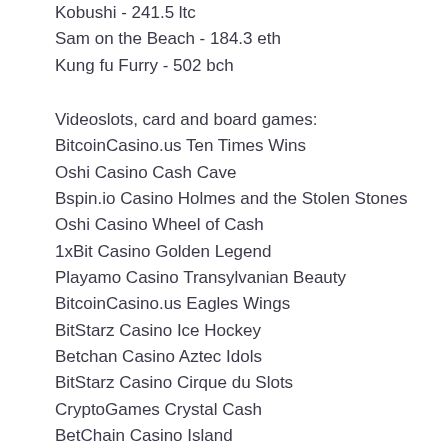Kobushi - 241.5 ltc
Sam on the Beach - 184.3 eth
Kung fu Furry - 502 bch
Videoslots, card and board games:
BitcoinCasino.us Ten Times Wins
Oshi Casino Cash Cave
Bspin.io Casino Holmes and the Stolen Stones
Oshi Casino Wheel of Cash
1xBit Casino Golden Legend
Playamo Casino Transylvanian Beauty
BitcoinCasino.us Eagles Wings
BitStarz Casino Ice Hockey
Betchan Casino Aztec Idols
BitStarz Casino Cirque du Slots
CryptoGames Crystal Cash
BetChain Casino Island
1xBit Casino Gladiator of Rome
1xBit Casino The Rift